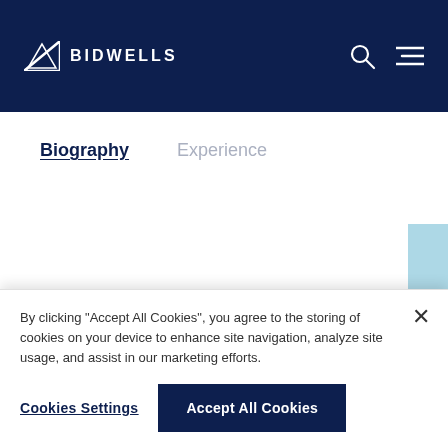BIDWELLS
Biography | Experience
John has delivered some of Bidwells 'most successful projects, but he is perhaps most renowned throughout
By clicking "Accept All Cookies", you agree to the storing of cookies on your device to enhance site navigation, analyze site usage, and assist in our marketing efforts.
Cookies Settings
Accept All Cookies